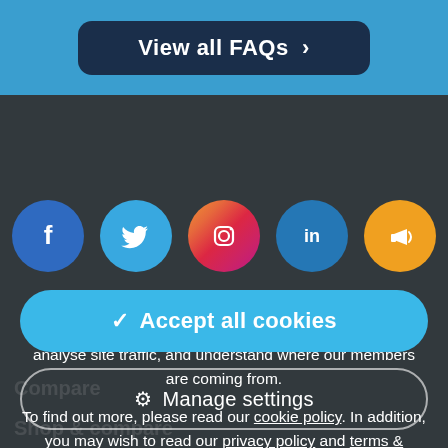View all FAQs >
[Figure (illustration): Row of five social media icons: Facebook (blue circle with f), Twitter (blue circle with bird), Instagram (gradient circle with camera), LinkedIn (blue circle with 'in'), and a megaphone/announcement icon (orange circle)]
We use cookies to improve your browsing experience on our site, show personalised content and targeted ads, analyse site traffic, and understand where our members are coming from.

To find out more, please read our cookie policy. In addition, you may wish to read our privacy policy and terms & conditions. By clicking "I accept", you consent to our use of cookies.
✓ Accept all cookies
⚙ Manage settings